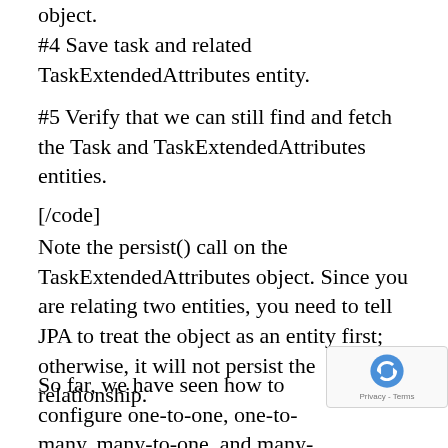object.
#4 Save task and related TaskExtendedAttributes entity.
#5 Verify that we can still find and fetch the Task and TaskExtendedAttributes entities.
[/code]
Note the persist() call on the TaskExtendedAttributes object. Since you are relating two entities, you need to tell JPA to treat the object as an entity first; otherwise, it will not persist the relationship.
So far, we have seen how to configure one-to-one, one-to-many, many-to-one, and many-to-many relationships using Roo and JPA. Le...